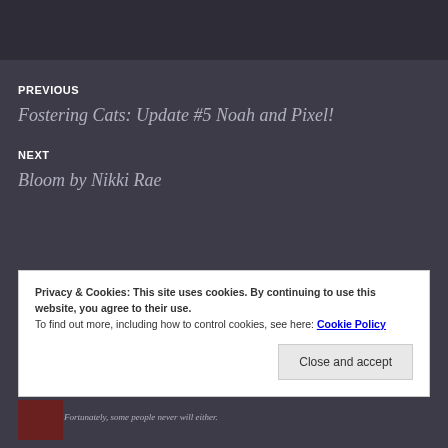PREVIOUS
Fostering Cats: Update #5 Noah and Pixel!
NEXT
Bloom by Nikki Rae
Privacy & Cookies: This site uses cookies. By continuing to use this website, you agree to their use.
To find out more, including how to control cookies, see here: Cookie Policy
Close and accept
Fortunately, some people never will either.